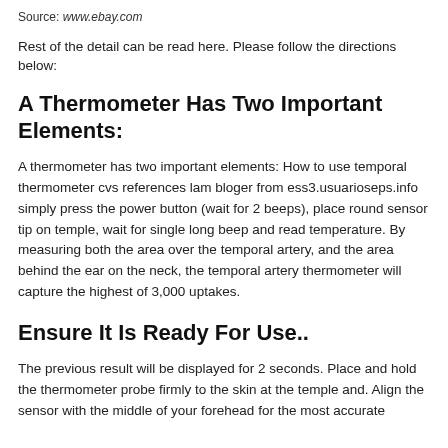Source: www.ebay.com
Rest of the detail can be read here. Please follow the directions below:
A Thermometer Has Two Important Elements:
A thermometer has two important elements: How to use temporal thermometer cvs references lam bloger from ess3.usuarioseps.info simply press the power button (wait for 2 beeps), place round sensor tip on temple, wait for single long beep and read temperature. By measuring both the area over the temporal artery, and the area behind the ear on the neck, the temporal artery thermometer will capture the highest of 3,000 uptakes.
Ensure It Is Ready For Use..
The previous result will be displayed for 2 seconds. Place and hold the thermometer probe firmly to the skin at the temple and. Align the sensor with the middle of your forehead for the most accurate